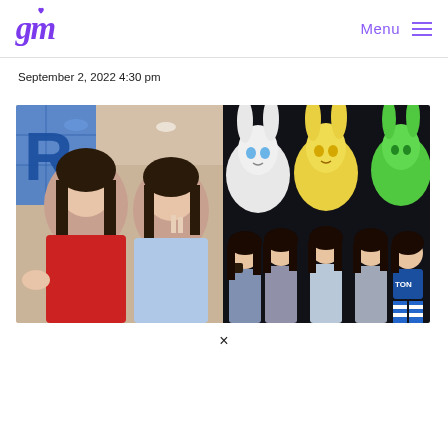gm [logo] | Menu ☰
September 2, 2022 4:30 pm
[Figure (photo): Two-panel photo: left panel shows two young women posing with peace signs in front of what appears to be a store with a blue 'R' sign; right panel shows five young women sitting/posing in front of cartoon rabbit mascot decorations (white, yellow, and green bunnies), one wearing a blue 'TON' cheerleader outfit.]
×